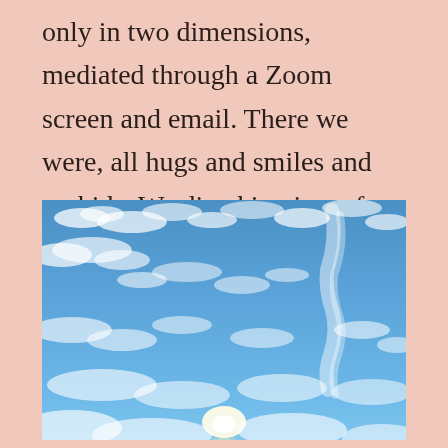only in two dimensions, mediated through a Zoom screen and email. There we were, all hugs and smiles and orchids. We dined in view of fishing boats and concluded with ice cream and hot chocolate. I hope the surf is wonderful another weekend too!
[Figure (photo): A photograph of a blue sky with wispy and scattered white clouds, sun visible near the bottom center glowing brightly through the clouds.]